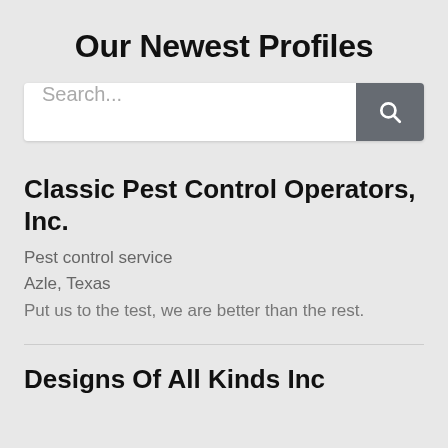Our Newest Profiles
Search...
Classic Pest Control Operators, Inc.
Pest control service
Azle, Texas
Put us to the test, we are better than the rest.
Designs Of All Kinds Inc